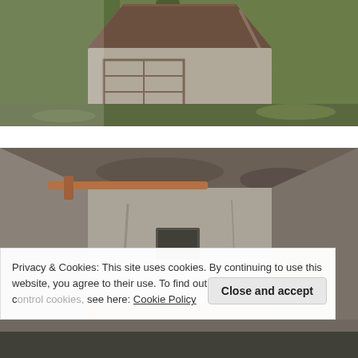[Figure (photo): Outdoor photo of an open metal hatch or bunker entrance surrounded by trees, moss and leaves. The hatch lid is propped open revealing a metal interior.]
[Figure (photo): Interior photo of an abandoned concrete bunker or underground shelter with stained walls, ceiling pipes, and a ventilation panel.]
Privacy & Cookies: This site uses cookies. By continuing to use this website, you agree to their use. To find out more, including how to control cookies, see here: Cookie Policy